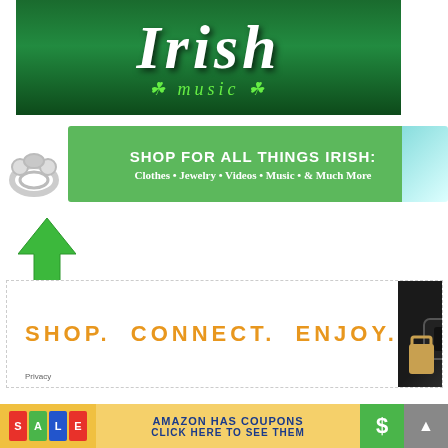[Figure (illustration): Irish music banner with large white 'IRISH' text and green 'music' subtitle with shamrocks on a dark green water background]
[Figure (illustration): Shop for All Things Irish banner: green background with Claddagh ring image on left, woman in green on right, text: SHOP FOR ALL THINGS IRISH: Clothes • Jewelry • Videos • Music • & Much More]
[Figure (illustration): Green upward-pointing arrow]
[Figure (illustration): Advertisement: SHOP. CONNECT. ENJOY. in orange text with electronics/gaming equipment image on right. Privacy label at bottom left.]
[Figure (illustration): Amazon coupons banner: SALE tags on left, yellow background with 'AMAZON HAS COUPONS CLICK HERE TO SEE THEM', dollar sign tag and scroll button on right]